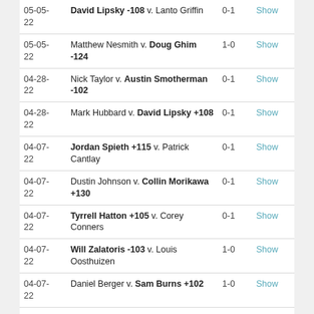| Date | Match | Result | Action |
| --- | --- | --- | --- |
| 05-05-22 | David Lipsky -108 v. Lanto Griffin | 0-1 | Show |
| 05-05-22 | Matthew Nesmith v. Doug Ghim -124 | 1-0 | Show |
| 04-28-22 | Nick Taylor v. Austin Smotherman -102 | 0-1 | Show |
| 04-28-22 | Mark Hubbard v. David Lipsky +108 | 0-1 | Show |
| 04-07-22 | Jordan Spieth +115 v. Patrick Cantlay | 0-1 | Show |
| 04-07-22 | Dustin Johnson v. Collin Morikawa +130 | 0-1 | Show |
| 04-07-22 | Tyrrell Hatton +105 v. Corey Conners | 0-1 | Show |
| 04-07-22 | Will Zalatoris -103 v. Louis Oosthuizen | 1-0 | Show |
| 04-07-22 | Daniel Berger v. Sam Burns +102 | 1-0 | Show |